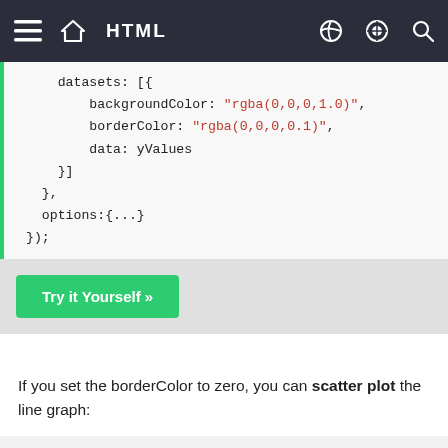HTML
datasets: [{
    backgroundColor: "rgba(0,0,0,1.0)",
    borderColor: "rgba(0,0,0,0.1)",
    data: yValues
}]
},
options:{...}
});
Try it Yourself »
If you set the borderColor to zero, you can scatter plot the line graph:
borderColor: "rgba(0,0,0,0)",